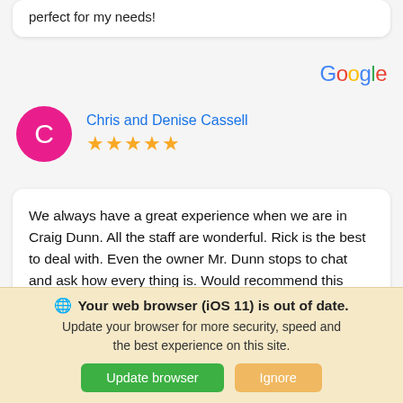perfect for my needs!
[Figure (logo): Google logo in multicolor text]
Chris and Denise Cassell
★★★★★
We always have a great experience when we are in Craig Dunn. All the staff are wonderful. Rick is the best to deal with. Even the owner Mr. Dunn stops to chat and ask how every thing is. Would recommend this place to everyone!!!
🌐 Your web browser (iOS 11) is out of date.
Update your browser for more security, speed and the best experience on this site.
[Update browser] [Ignore]